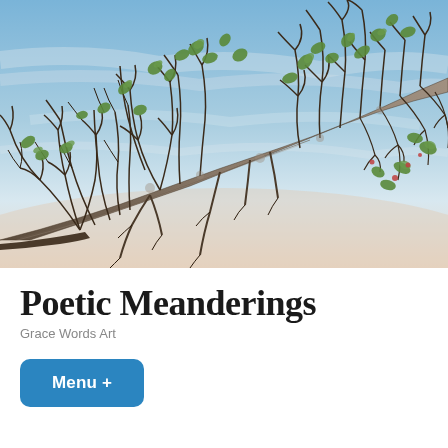[Figure (photo): Photograph of bare tree branches with sparse green leaves against a blue and pale sky, taken from below looking upward. A large diagonal branch extends from lower left to upper right, with many smaller bare twigs branching out.]
Poetic Meanderings
Grace Words Art
Menu +